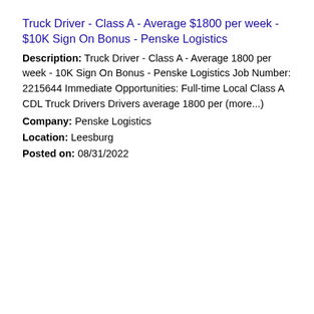Truck Driver - Class A - Average $1800 per week - $10K Sign On Bonus - Penske Logistics
Description: Truck Driver - Class A - Average 1800 per week - 10K Sign On Bonus - Penske Logistics Job Number: 2215644 Immediate Opportunities: Full-time Local Class A CDL Truck Drivers Drivers average 1800 per (more...)
Company: Penske Logistics
Location: Leesburg
Posted on: 08/31/2022